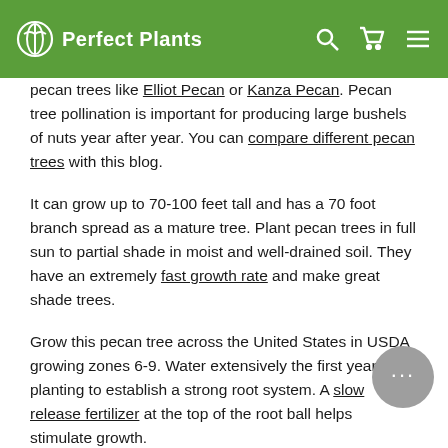Perfect Plants
pecan trees like Elliot Pecan or Kanza Pecan. Pecan tree pollination is important for producing large bushels of nuts year after year. You can compare different pecan trees with this blog.
It can grow up to 70-100 feet tall and has a 70 foot branch spread as a mature tree. Plant pecan trees in full sun to partial shade in moist and well-drained soil. They have an extremely fast growth rate and make great shade trees.
Grow this pecan tree across the United States in USDA growing zones 6-9. Water extensively the first year of planting to establish a strong root system. A slow release fertilizer at the top of the root ball helps stimulate growth.
These are not bare root trees. These are shipped in a container rooted in soil.
Shop the Oconee Pecan tree for sale.
Check out our Pecan Grow Guide for more information on growing pecan trees and pecan tree care!